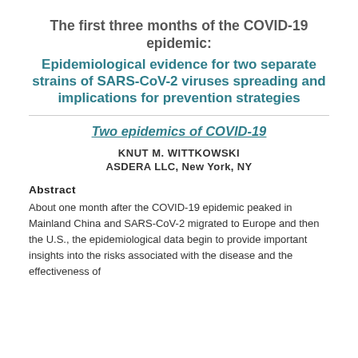The first three months of the COVID-19 epidemic:
Epidemiological evidence for two separate strains of SARS-CoV-2 viruses spreading and implications for prevention strategies
Two epidemics of COVID-19
KNUT M. WITTKOWSKI
ASDERA LLC, New York, NY
Abstract
About one month after the COVID-19 epidemic peaked in Mainland China and SARS-CoV-2 migrated to Europe and then the U.S., the epidemiological data begin to provide important insights into the risks associated with the disease and the effectiveness of